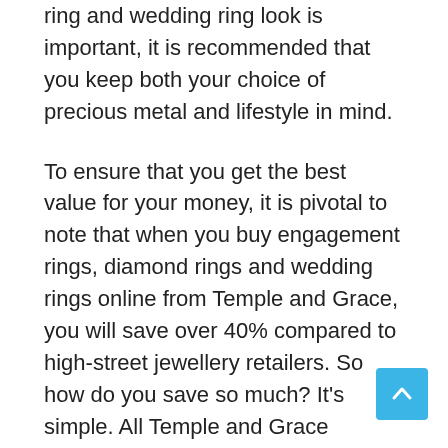ring and wedding ring look is important, it is recommended that you keep both your choice of precious metal and lifestyle in mind.
To ensure that you get the best value for your money, it is pivotal to note that when you buy engagement rings, diamond rings and wedding rings online from Temple and Grace, you will save over 40% compared to high-street jewellery retailers. So how do you save so much? It’s simple. All Temple and Grace jewellery is made in-house. Every diamond ring, engagement ring and wedding band that you see online is handcrafted directly at the Temple and Grace jewellery boutique in Sydney. We are renowned goldsmiths and loose diamond specialists. With an in-depth understanding of precious metal such as gold and platinum, we guarantee that we can make you the finest diamond wedding bands and gold wedding rings. Visit us or shop online to experience finesse and high-quality wedding and engagement rings.